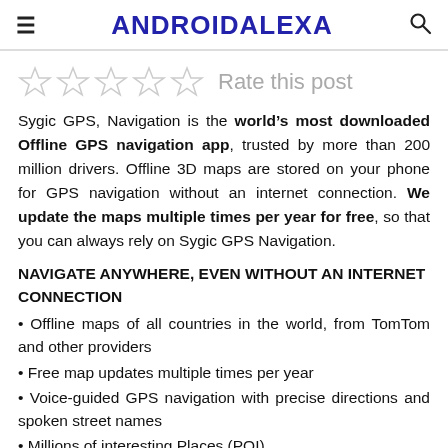ANDROIDALEXA
[Figure (other): Five empty star rating icons with text 'Rate this post']
Sygic GPS, Navigation is the world's most downloaded Offline GPS navigation app, trusted by more than 200 million drivers. Offline 3D maps are stored on your phone for GPS navigation without an internet connection. We update the maps multiple times per year for free, so that you can always rely on Sygic GPS Navigation.
NAVIGATE ANYWHERE, EVEN WITHOUT AN INTERNET CONNECTION
• Offline maps of all countries in the world, from TomTom and other providers
• Free map updates multiple times per year
• Voice-guided GPS navigation with precise directions and spoken street names
• Millions of interesting Places (POI)